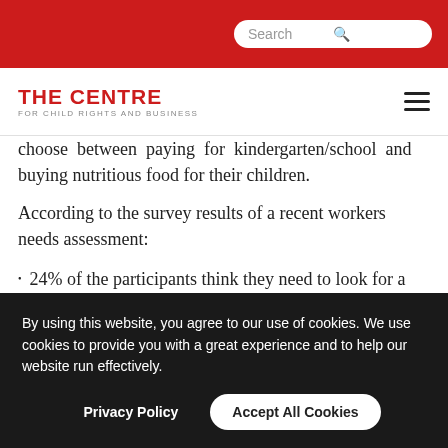Search
THE CENTRE
FOR CHILD RIGHTS AND BUSINESS
choose between paying for kindergarten/school and buying nutritious food for their children.
According to the survey results of a recent workers needs assessment:
24% of the participants think they need to look for a more stable job, while 19% are considering taking
By using this website, you agree to our use of cookies. We use cookies to provide you with a great experience and to help our website run effectively.
Privacy Policy
Accept All Cookies